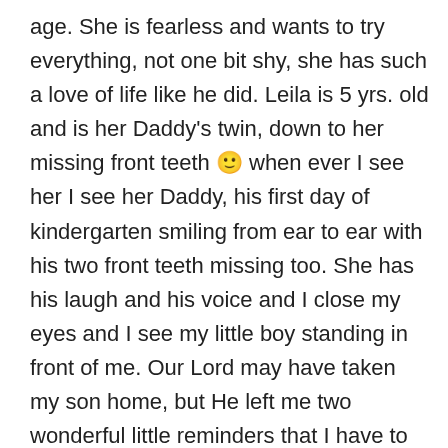age. She is fearless and wants to try everything, not one bit shy, she has such a love of life like he did. Leila is 5 yrs. old and is her Daddy's twin, down to her missing front teeth 🙂 when ever I see her I see her Daddy, his first day of kindergarten smiling from ear to ear with his two front teeth missing too. She has his laugh and his voice and I close my eyes and I see my little boy standing in front of me. Our Lord may have taken my son home, but He left me two wonderful little reminders that I have to go on. They love to hear stories of when their Daddy was a little boy. It makes them laugh and my heart feels full again. I just want to let you know that even though it doesn't seem like it right now the pain does ease up. It hasn't gone away for